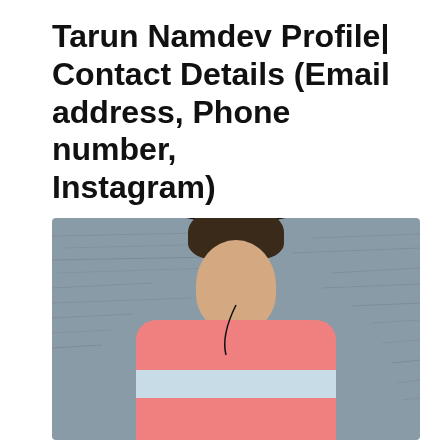Tarun Namdev Profile| Contact Details (Email address, Phone number, Instagram)
[Figure (photo): Young man wearing a black bucket hat and pink striped long-sleeve shirt, standing against a grey textured wall. He has brown wavy hair and is wearing a black necklace.]